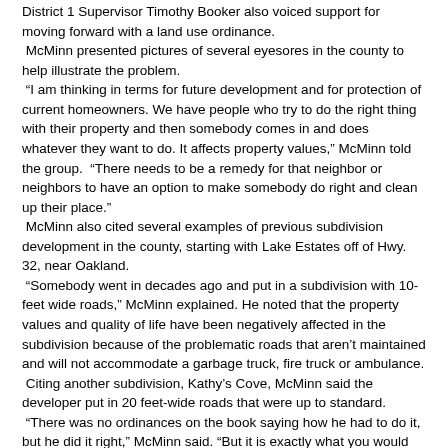District 1 Supervisor Timothy Booker also voiced support for moving forward with a land use ordinance.
McMinn presented pictures of several eyesores in the county to help illustrate the problem.
“I am thinking in terms for future development and for protection of current homeowners. We have people who try to do the right thing with their property and then somebody comes in and does whatever they want to do. It affects property values,” McMinn told the group.  “There needs to be a remedy for that neighbor or neighbors to have an option to make somebody do right and clean up their place.”
McMinn also cited several examples of previous subdivision development in the county, starting with Lake Estates off of Hwy. 32, near Oakland.
“Somebody went in decades ago and put in a subdivision with 10-feet wide roads,” McMinn explained. He noted that the property values and quality of life have been negatively affected in the subdivision because of the problematic roads that aren’t maintained and will not accommodate a garbage truck, fire truck or ambulance.
Citing another subdivision, Kathy’s Cove, McMinn said the developer put in 20 feet-wide roads that were up to standard.
“There was no ordinances on the book saying how he had to do it, but he did it right,” McMinn said. “But it is exactly what you would want him to do if we had an ordinance on the books.”
“I am not saying they would have to have curbs and gutters, but I would like to have minimum subdivision stands,” he added.
McMinn also stressed that enforcement would be essential if the county adopted an ordinance regulating land use.
Booker explained he had been recently approached by a constituent asking if the county could do something about a neighbor with multiple abandoned vehicles on their property.
“I told her that we are working on it,” Booker explained.